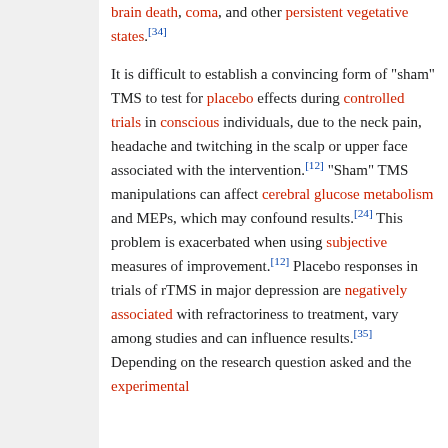brain death, coma, and other persistent vegetative states.[34]
It is difficult to establish a convincing form of "sham" TMS to test for placebo effects during controlled trials in conscious individuals, due to the neck pain, headache and twitching in the scalp or upper face associated with the intervention.[12] "Sham" TMS manipulations can affect cerebral glucose metabolism and MEPs, which may confound results.[24] This problem is exacerbated when using subjective measures of improvement.[12] Placebo responses in trials of rTMS in major depression are negatively associated with refractoriness to treatment, vary among studies and can influence results.[35] Depending on the research question asked and the experimental